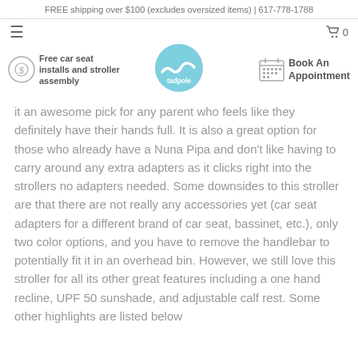FREE shipping over $100 (excludes oversized items) | 617-778-1788
[Figure (logo): Tadpole baby store logo - circular light blue badge with wave design]
Free car seat installs and stroller assembly
Book An Appointment
it an awesome pick for any parent who feels like they definitely have their hands full. It is also a great option for those who already have a Nuna Pipa and don't like having to carry around any extra adapters as it clicks right into the strollers no adapters needed. Some downsides to this stroller are that there are not really any accessories yet (car seat adapters for a different brand of car seat, bassinet, etc.), only two color options, and you have to remove the handlebar to potentially fit it in an overhead bin. However, we still love this stroller for all its other great features including a one hand recline, UPF 50 sunshade, and adjustable calf rest. Some other highlights are listed below